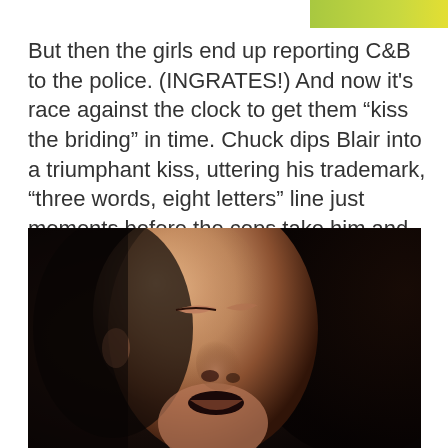[Figure (photo): Top portion of a GIF image with green/yellow background and 4GIFs.com watermark]
But then the girls end up reporting C&B to the police. (INGRATES!)  And now it's race against the clock to get them “kiss the briding” in time.  Chuck dips Blair into a triumphant kiss, uttering his trademark, “three words, eight letters” line just moments before the cops take him and his new bride away.  Part of me kind of wishes that, when the cops came for “Blair Waldorf,” she would have announced “I’m Blair Bass,” in true “Mrs. Chuck” style.
[Figure (photo): Close-up photo of a young man with eyes closed, face tilted slightly, dark background with warm amber tones]